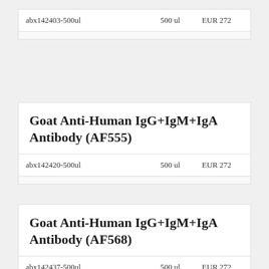| Catalog |  | Size | Price |
| --- | --- | --- | --- |
| abx142403-500ul |  | 500 ul | EUR 272 |
|  |  |  |  |
Goat Anti-Human IgG+IgM+IgA Antibody (AF555)
| Catalog |  | Size | Price |
| --- | --- | --- | --- |
| abx142420-500ul |  | 500 ul | EUR 272 |
|  |  |  |  |
Goat Anti-Human IgG+IgM+IgA Antibody (AF568)
| Catalog |  | Size | Price |
| --- | --- | --- | --- |
| abx142437-500ul |  | 500 ul | EUR 272 |
|  |  |  |  |